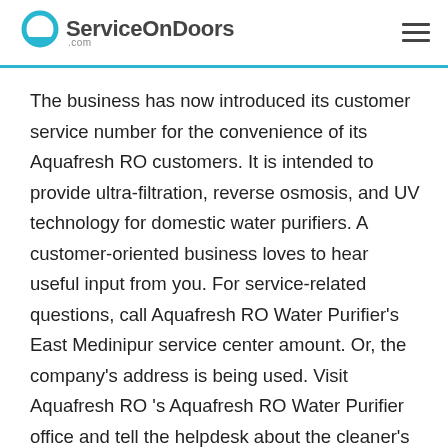ServiceOnDoors .com
The business has now introduced its customer service number for the convenience of its Aquafresh RO customers. It is intended to provide ultra-filtration, reverse osmosis, and UV technology for domestic water purifiers. A customer-oriented business loves to hear useful input from you. For service-related questions, call Aquafresh RO Water Purifier's East Medinipur service center amount. Or, the company's address is being used. Visit Aquafresh RO 's Aquafresh RO Water Purifier office and tell the helpdesk about the cleaner's problems. You should dial Aquafresh RO 's Water Purifier contact number to know if there is any